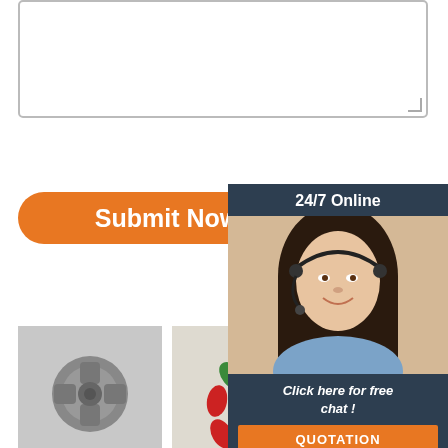[Figure (screenshot): Empty text input area/textarea with resize handle at bottom right]
[Figure (other): Orange 'Submit Now' rounded button]
[Figure (other): 24/7 Online chat widget with customer service representative photo, 'Click here for free chat!' text and orange QUOTATION button]
[Figure (photo): Black and white photo of a metal universal joint/U-joint mechanical part]
Hummer Wallpapers, Pictures, Images
2013-3-13∙3333
[Figure (photo): Photo of multiple small red and green plastic/rubber connector parts with a dark metal center piece on a light background]
Hummer Wallpapers - Backie
Free Hummer wallpapers, Gear...
[Figure (photo): Partial photo of a vehicle, partially obscured by the chat widget overlay]
Introducing The GMC HUMMER EVs
A wushan functio...